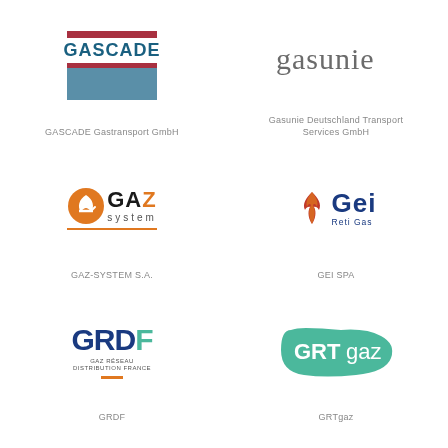[Figure (logo): GASCADE logo: red bar, blue GASCADE text, red stripe and blue rectangle block]
GASCADE Gastransport GmbH
[Figure (logo): Gasunie logo: stylized lowercase 'gasunie' in grey serif font]
Gasunie Deutschland Transport Services GmbH
[Figure (logo): GAZ-System logo: orange circle icon with arrow, bold GAZ text, 'system' in small caps, orange underline]
GAZ-SYSTEM S.A.
[Figure (logo): GEI Reti Gas logo: red flame/leaf icon, bold blue GEI text, small 'Reti Gas' below]
GEI SPA
[Figure (logo): GRDF logo: blue GRDF letters with teal F, subtitle GAZ RESEAU DISTRIBUTION FRANCE, orange bar]
GRDF
[Figure (logo): GRTgaz logo: teal blob/rounded shape with white GRTgaz text inside]
GRTgaz